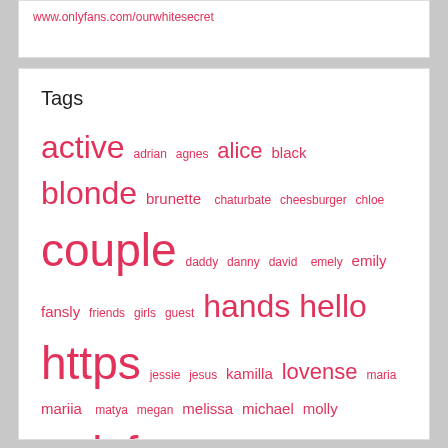www.onlyfans.com/ourwhitesecret
Tags
active adrian agnes alice black blonde brunette chaturbate cheesburger chloe couple daddy danny david emely emily fansly friends girls guest hands hello https jessie jesus kamilla lovense maria mariia matya megan melissa michael molly onlyfans please pleasure private redhead sarah sofia tiana vibrations welcome world